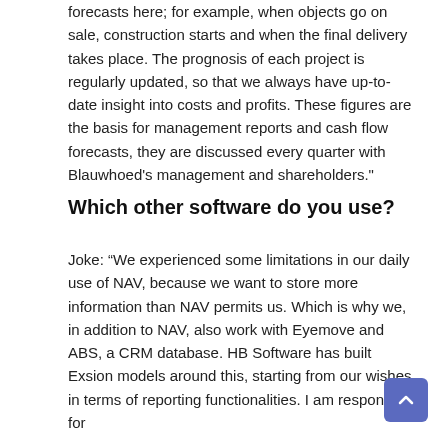forecasts here; for example, when objects go on sale, construction starts and when the final delivery takes place. The prognosis of each project is regularly updated, so that we always have up-to-date insight into costs and profits. These figures are the basis for management reports and cash flow forecasts, they are discussed every quarter with Blauwhoed's management and shareholders."
Which other software do you use?
Joke: “We experienced some limitations in our daily use of NAV, because we want to store more information than NAV permits us. Which is why we, in addition to NAV, also work with Eyemove and ABS, a CRM database. HB Software has built Exsion models around this, starting from our wishes in terms of reporting functionalities. I am responsible for